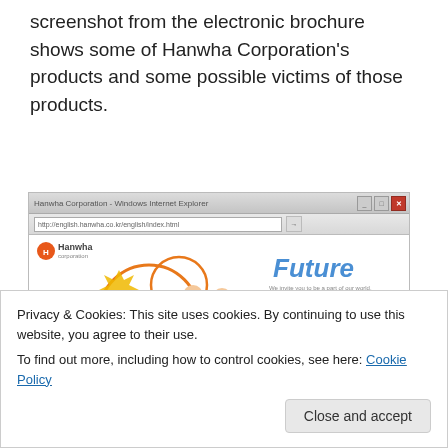screenshot from the electronic brochure shows some of Hanwha Corporation's products and some possible victims of those products.
[Figure (screenshot): Screenshot of Hanwha Corporation's website in Internet Explorer, showing the word 'Future' in blue italic text, children standing in foreground, orange circular design elements, a Hanwha logo in top-left, and a product gallery bar at the bottom.]
Privacy & Cookies: This site uses cookies. By continuing to use this website, you agree to their use.
To find out more, including how to control cookies, see here: Cookie Policy